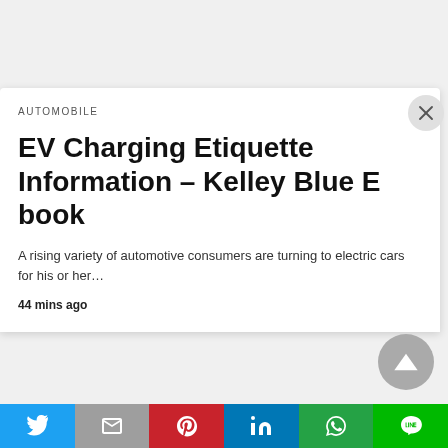AUTOMOBILE
EV Charging Etiquette Information – Kelley Blue E book
A rising variety of automotive consumers are turning to electric cars for his or her…
44 mins ago